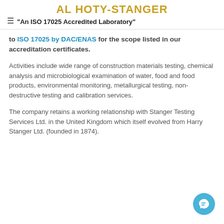AL HOTY-STANGER
"An ISO 17025 Accredited Laboratory"
to ISO 17025 by DAC/ENAS for the scope listed in our accreditation certificates.
Activities include wide range of construction materials testing, chemical analysis and microbiological examination of water, food and food products, environmental monitoring, metallurgical testing, non-destructive testing and calibration services.
The company retains a working relationship with Stanger Testing Services Ltd. in the United Kingdom which itself evolved from Harry Stanger Ltd. (founded in 1874).